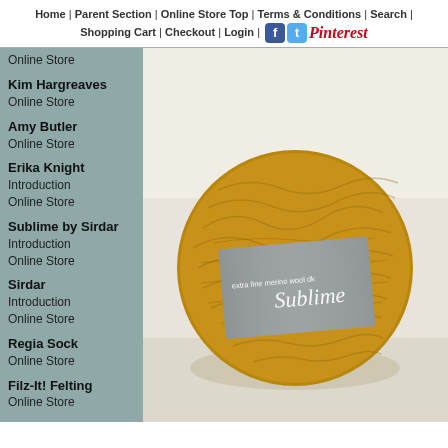Home | Parent Section | Online Store Top | Terms & Conditions | Search | Shopping Cart | Checkout | Login | [social icons: Facebook, Twitter, Pinterest]
Online Store
Kim Hargreaves
Online Store
Amy Butler
Online Store
Erika Knight
Introduction
Online Store
Sublime by Sirdar
Introduction
Online Store
Sirdar
Introduction
Online Store
Regia Sock
Online Store
Filz-It! Felting
Online Store
Accessories
Knitting Needles
Buttons, Beads, etc.
[Figure (photo): A ball of golden/mustard yellow yarn with a grey label reading 'Sublime extra fine merino wool dk' in white script and text]